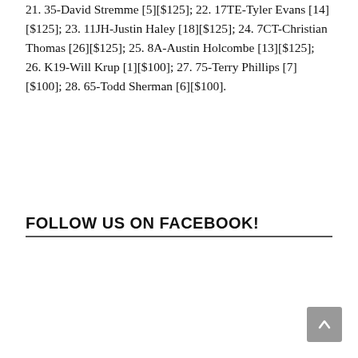21. 35-David Stremme [5][$125]; 22. 17TE-Tyler Evans [14][$125]; 23. 11JH-Justin Haley [18][$125]; 24. 7CT-Christian Thomas [26][$125]; 25. 8A-Austin Holcombe [13][$125]; 26. K19-Will Krup [1][$100]; 27. 75-Terry Phillips [7][$100]; 28. 65-Todd Sherman [6][$100].
FOLLOW US ON FACEBOOK!